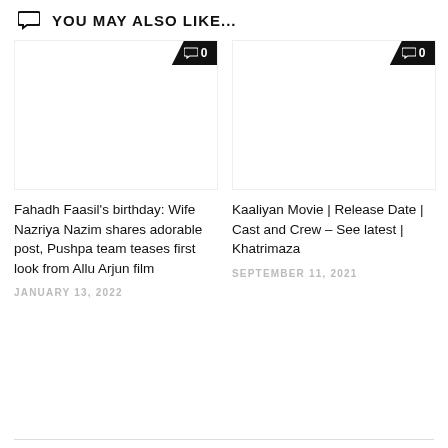YOU MAY ALSO LIKE...
[Figure (illustration): White blank image area with black comment badge showing speech bubble icon and '0' for first article card]
[Figure (illustration): White blank image area with black comment badge showing speech bubble icon and '0' for second article card]
Fahadh Faasil's birthday: Wife Nazriya Nazim shares adorable post, Pushpa team teases first look from Allu Arjun film
JANUARY 13, 2022
Kaaliyan Movie | Release Date | Cast and Crew – See latest | Khatrimaza
SEPTEMBER 11, 2021